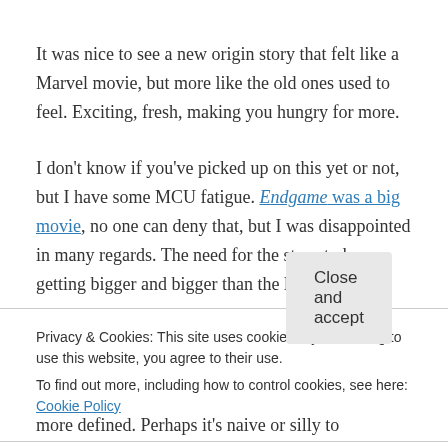It was nice to see a new origin story that felt like a Marvel movie, but more like the old ones used to feel. Exciting, fresh, making you hungry for more.
I don't know if you've picked up on this yet or not, but I have some MCU fatigue. Endgame was a big movie, no one can deny that, but I was disappointed in many regards. The need for the story to keep getting bigger and bigger than the last thing has
Privacy & Cookies: This site uses cookies. By continuing to use this website, you agree to their use.
To find out more, including how to control cookies, see here: Cookie Policy
Close and accept
more defined. Perhaps it's naive or silly to